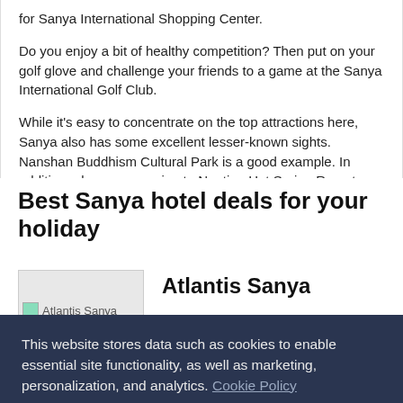for Sanya International Shopping Center.
Do you enjoy a bit of healthy competition? Then put on your golf glove and challenge your friends to a game at the Sanya International Golf Club.
While it's easy to concentrate on the top attractions here, Sanya also has some excellent lesser-known sights. Nanshan Buddhism Cultural Park is a good example. In addition, plan an excursion to Nantian Hot Spring Resort.
Best Sanya hotel deals for your holiday
[Figure (photo): Atlantis Sanya hotel image placeholder]
Atlantis Sanya
This website stores data such as cookies to enable essential site functionality, as well as marketing, personalization, and analytics. Cookie Policy
Accept
Deny